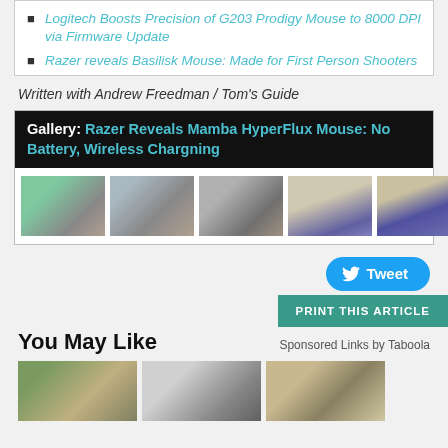Logitech Boosts Precision of G203 Prodigy Mouse to 8000 DPI via Firmware Update
Razer reveals Basilisk Mouse: Made for First Person Shooters
Written with Andrew Freedman / Tom’s Guide
[Figure (screenshot): Gallery section with black header reading 'Gallery: Razer Reveals Mamba HyperFlux Mouse: No Battery, Wireless Chargning' and six thumbnail images of a gaming mouse and cable]
Tweet
PRINT THIS ARTICLE
You May Like
Sponsored Links by Taboola
[Figure (photo): Three thumbnail images for 'You May Like' sponsored content section]